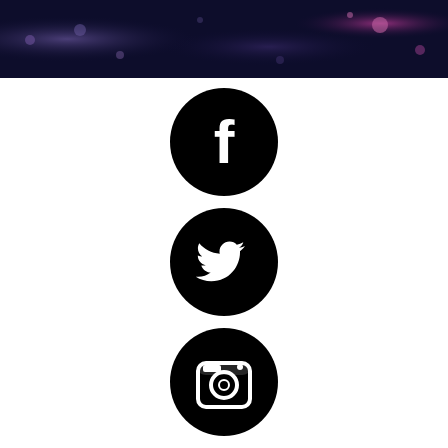[Figure (illustration): Dark blue/purple banner with bokeh light effects at the top of the page]
[Figure (illustration): Black circle icon with white Facebook 'f' logo]
[Figure (illustration): Black circle icon with white Twitter bird logo]
[Figure (illustration): Black circle icon with white Instagram camera logo]
[Figure (illustration): Black circle icon with white Goodreads 'g' logo]
[Figure (illustration): Black circle icon with white envelope/mail logo and NEWSLETTER text]
[Figure (illustration): Partial view of additional social media icons at the bottom, cropped]